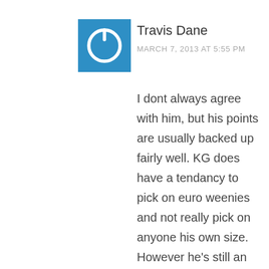[Figure (other): Blue square avatar with white power/standby symbol icon]
Travis Dane
MARCH 7, 2013 AT 5:55 PM
I dont always agree with him, but his points are usually backed up fairly well. KG does have a tendancy to pick on euro weenies and not really pick on anyone his own size. However he's still an amazing competitor, and the heart and soul of the team, which Folger...